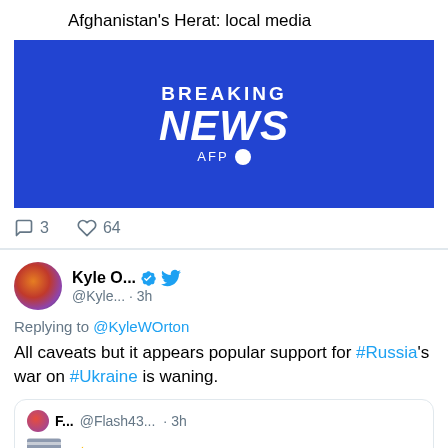Afghanistan's Herat: local media
[Figure (screenshot): Breaking News AFP blue banner image]
3 comments, 64 likes
Kyle O... @Kyle... · 3h
Replying to @KyleWOrton
All caveats but it appears popular support for #Russia's war on #Ukraine is waning.
F... @Flash43... · 3h ⚡ According to